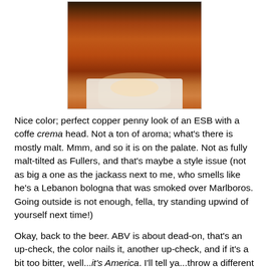[Figure (photo): A pint glass of amber/copper colored beer (ESB style) sitting on a white napkin on a wooden bar surface.]
Nice color; perfect copper penny look of an ESB with a coffe crema head. Not a ton of aroma; what's there is mostly malt. Mmm, and so it is on the palate. Not as fully malt-tilted as Fullers, and that's maybe a style issue (not as big a one as the jackass next to me, who smells like he's a Lebanon bologna that was smoked over Marlboros. Going outside is not enough, fella, try standing upwind of yourself next time!)
Okay, back to the beer. ABV is about dead-on, that's an up-check, the color nails it, another up-check, and if it's a bit too bitter, well...it's America. I'll tell ya...throw a different yeast in here, give her a touch more malt, maybe tweak the hops a bit, and you'd have something. Something to think...